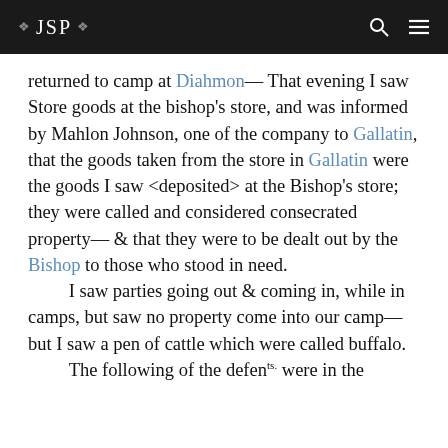❖ JSP ❖
returned to camp at Diahmon— That evening I saw Store goods at the bishop's store, and was informed by Mahlon Johnson, one of the company to Gallatin, that the goods taken from the store in Gallatin were the goods I saw <deposited> at the Bishop's store; they were called and considered consecrated property— & that they were to be dealt out by the Bishop to those who stood in need.
    I saw parties going out & coming in, while in camps, but saw no property come into our camp— but I saw a pen of cattle which were called buffalo.
    The following of the defen[ts] were in the